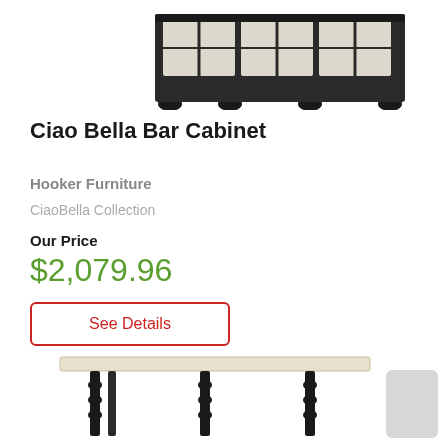[Figure (photo): Top portion of a bar cabinet product photo — dark metal frame with glass panels, shown from above cropped at top of page]
Ciao Bella Bar Cabinet
Hooker Furniture
CiaoBella Collection
Our Price
$2,079.96
See Details
[Figure (photo): Bottom portion of a furniture item photo — shows a table with a light-colored top and dark turned-leg base, partially cropped at bottom of page]